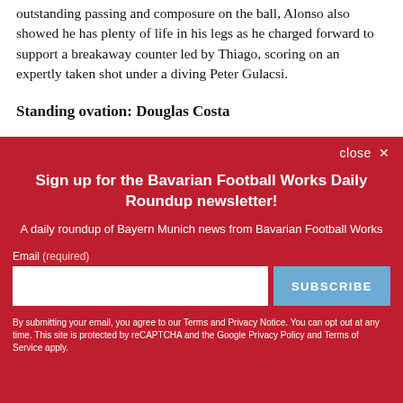outstanding passing and composure on the ball, Alonso also showed he has plenty of life in his legs as he charged forward to support a breakaway counter led by Thiago, scoring on an expertly taken shot under a diving Peter Gulacsi.
Standing ovation: Douglas Costa
[Figure (other): Newsletter signup overlay modal with red background. Title: 'Sign up for the Bavarian Football Works Daily Roundup newsletter!' Subtitle: 'A daily roundup of Bayern Munich news from Bavarian Football Works'. Email input field and SUBSCRIBE button. Close button top right. Legal text at bottom.]